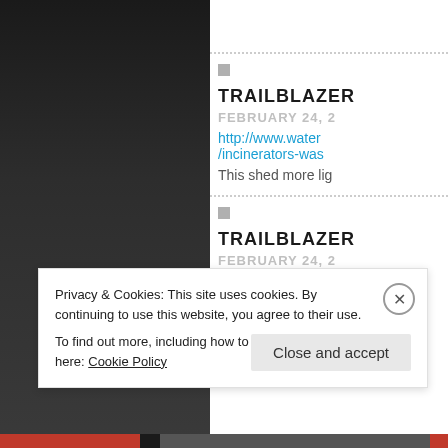[Figure (screenshot): Dark sidebar navigation panel on the left side of the page]
TRAILBLAZER
FEBRUARY 24, 2
http://www.water/incinerators-was
This shed more lig
TRAILBLAZER
FEBRUARY 24, 2
http://www.durha/incinerators-tim
Privacy & Cookies: This site uses cookies. By continuing to use this website, you agree to their use.
To find out more, including how to control cookies, see here: Cookie Policy
Close and accept